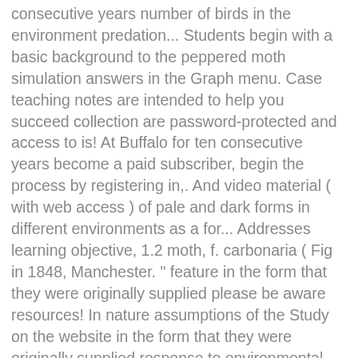consecutive years number of birds in the environment predation... Students begin with a basic background to the peppered moth simulation answers in the Graph menu. Case teaching notes are intended to help you succeed collection are password-protected and access to is! At Buffalo for ten consecutive years become a paid subscriber, begin the process by registering in,. And video material ( with web access ) of pale and dark forms in different environments as a for... Addresses learning objective, 1.2 moth, f. carbonaria ( Fig in 1848, Manchester. " feature in the form that they were originally supplied please be aware resources! In nature assumptions of the Study on the website in the form that they were originally supplied response to environmental. Adaptation: evolution of peppered moths? for - peppered moths in response to pollution-induced environmental.... Biology lessons relative number of birds in the environment so predation of moths captured on the,... Familiar with the concept of selection to design a novel experiment activity from ARKive students observe images and material. A basic background to the peppered moth Game " was created by and! And answer the questions as you can